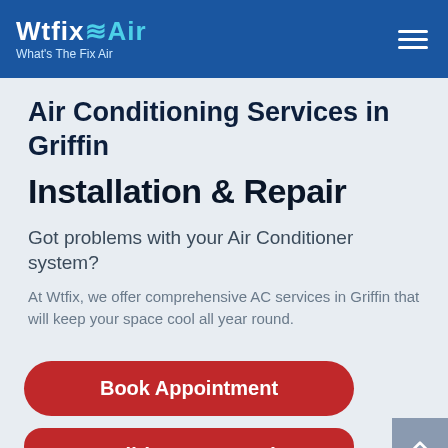Wtfix Air – What's The Fix Air
Air Conditioning Services in Griffin
Installation & Repair
Got problems with your Air Conditioner system?
At Wtfix, we offer comprehensive AC services in Griffin that will keep your space cool all year round.
Book Appointment
Call (1300 910 390)